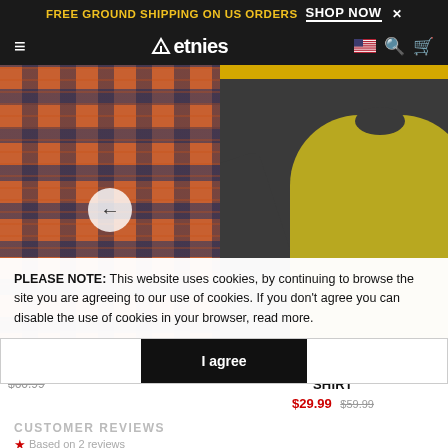FREE GROUND SHIPPING ON US ORDERS  SHOP NOW ×
≡  etnies  🇺🇸 🔍 🛒
[Figure (photo): Flannel shirt product image - plaid pattern in orange, red, navy]
[Figure (photo): San Juan Raglan Shirt - yellow-green body with dark grey sleeves]
[Figure (photo): San Juan Raglan Shirt - dark colorway, partially visible]
FLANNEL
$60.99
SAN JUAN RAGLAN SHIRT
$29.99 $59.99
SAN JUAN SH
$29.99
CUSTOMER REVIEWS
Based on 2 reviews
PLEASE NOTE: This website uses cookies, by continuing to browse the site you are agreeing to our use of cookies. If you don't agree you can disable the use of cookies in your browser, read more.
I agree